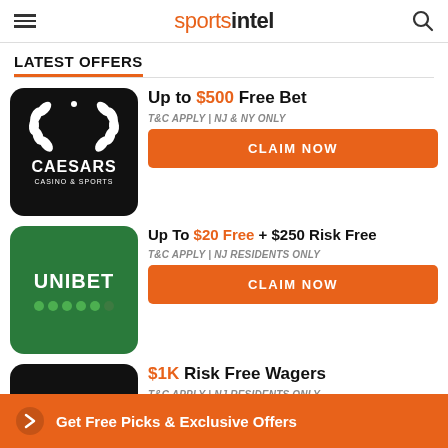sportsintel
LATEST OFFERS
Up to $500 Free Bet
T&C APPLY | NJ & NY ONLY
Up To $20 Free + $250 Risk Free
T&C APPLY | NJ RESIDENTS ONLY
$1K Risk Free Wagers
T&C APPLY | NJ RESIDENTS ONLY
Get Free Picks & Exclusive Offers